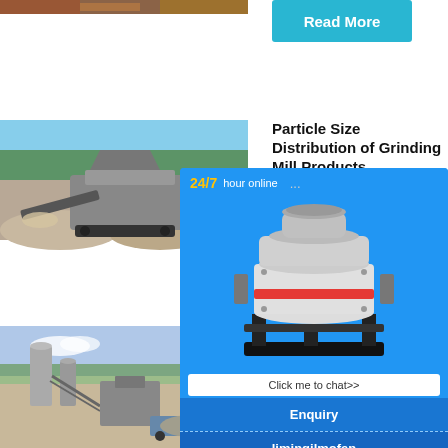[Figure (photo): Partial top strip of a mining/quarry scene with reddish-brown earth tones]
Read More
[Figure (photo): Large mobile crushing plant/machinery at a quarry site with gravel piles]
Particle Size Distribution of Grinding Mill Products
2019-4-2
Read
[Figure (photo): A cone crusher machine illustration shown in the 24/7 online chat popup widget]
24/7 hour online
Click me to chat>>
Enquiry
limingjlmofen
[Figure (photo): Industrial plant/aggregate processing facility with silos and conveyors at a quarry]
Particle Size Distribution, screening analysis
2016-10